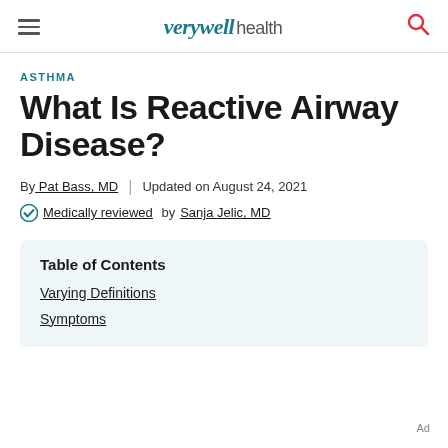verywell health
ASTHMA
What Is Reactive Airway Disease?
By Pat Bass, MD | Updated on August 24, 2021
Medically reviewed by Sanja Jelic, MD
| Table of Contents |
| --- |
| Varying Definitions |
| Symptoms |
Ad